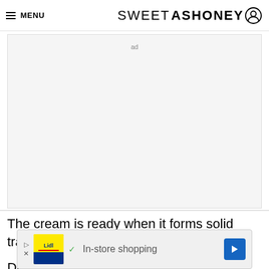≡ MENU   SWEETASHONEY ⊙
[Figure (other): Ad placeholder box with label 'ad']
The cream is ready when it forms solid trails and a soft stiff peak.
Don't over whisk, or it gets very firm. I
[Figure (other): Lidl in-store shopping advertisement banner at bottom of page]